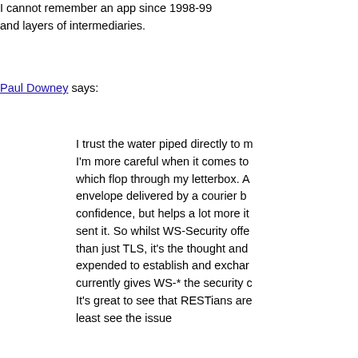I cannot remember an app since 1998-99 and layers of intermediaries.
Paul Downey says:
I trust the water piped directly to m... I'm more careful when it comes to which flop through my letterbox. A envelope delivered by a courier b confidence, but helps a lot more it sent it. So whilst WS-Security offe than just TLS, it's the thought and expended to establish and exchar currently gives WS-* the security c It's great to see that RESTians are least see the issue
And I totally agree with Don Park's asser
As far as I am concerned, REST a both tools. It's better to focus on w better at than fighting over which i
If I need message level security today, m So just in case people are sitll wondering message level security in some cases n